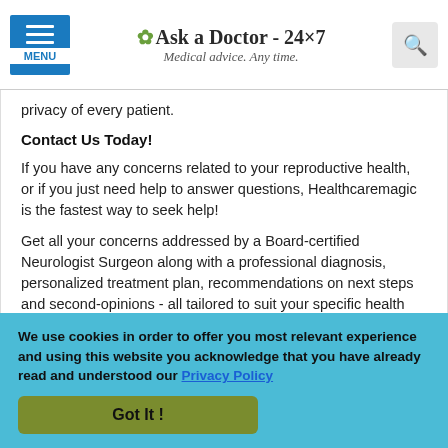Ask a Doctor - 24x7. Medical advice. Any time.
privacy of every patient.
Contact Us Today!
If you have any concerns related to your reproductive health, or if you just need help to answer questions, Healthcaremagic is the fastest way to seek help!
Get all your concerns addressed by a Board-certified Neurologist Surgeon along with a professional diagnosis, personalized treatment plan, recommendations on next steps and second-opinions - all tailored to suit your specific health need.
We use cookies in order to offer you most relevant experience and using this website you acknowledge that you have already read and understood our Privacy Policy. Got It !